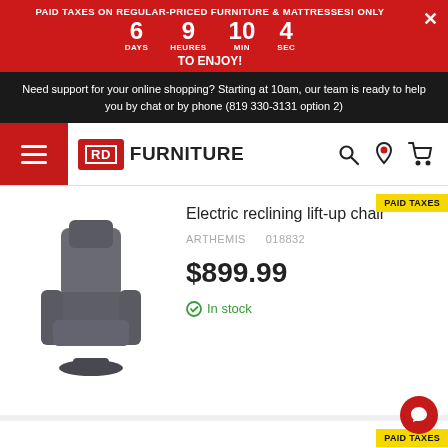PAID TAXES ON REGULAR-PRICED FURNITURE & MATTRESSES! ONLY 6 DAYS 9 HEURES 10 MIN 4 SEC TO ENJOY!
Need support for your online shopping? Starting at 10am, our team is ready to help you by chat or by phone (819 330-3131 option 2)
[Figure (logo): RD Furniture logo with red badge showing RD and the word FURNITURE]
Electric reclining lift-up chair
ARTHEMIS    018832
$899.99
In stock
[Figure (photo): Gray electric reclining lift-up chair product photo]
PAID TAXES
PAID TAXES